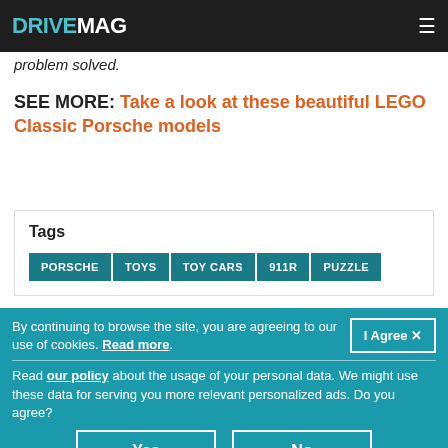DRIVEMAG
problem solved.
SEE MORE: Take a look at these beautiful LEGO Classic Porsche models
Tags
PORSCHE | TOYS | TOY CARS | 911R | PUZZLE
By continuing to browse the site, you are agreeing to our use of cookies. Read more.
Read our policy about the usage of your personal data. We might use these data for serving you more relevant personalized ads. Do you agree?
Yes
No
You can change your mind anytime in the Privacy Policy page.